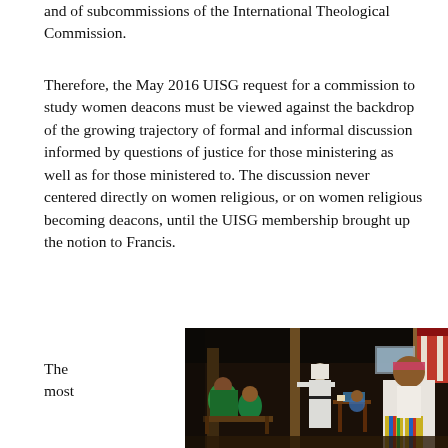and of subcommissions of the International Theological Commission.
Therefore, the May 2016 UISG request for a commission to study women deacons must be viewed against the backdrop of the growing trajectory of formal and informal discussion informed by questions of justice for those ministering as well as for those ministered to. The discussion never centered directly on women religious, or on women religious becoming deacons, until the UISG membership brought up the notion to Francis.
The most
[Figure (photo): A nun in white habit stands in an open-air shelter while indigenous community members sit nearby, including a man in traditional dress with a pink headband and colorful striped pants seated at right.]